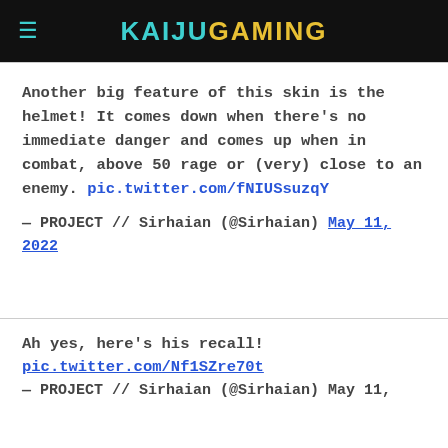KAIJUGAMING
Another big feature of this skin is the helmet! It comes down when there's no immediate danger and comes up when in combat, above 50 rage or (very) close to an enemy. pic.twitter.com/fNIUSsuzqY
— PROJECT // Sirhaian (@Sirhaian) May 11, 2022
Ah yes, here's his recall! pic.twitter.com/Nf1SZre70t
— PROJECT // Sirhaian (@Sirhaian) May 11,